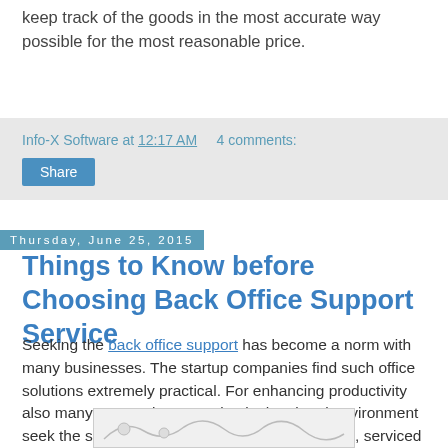keep track of the goods in the most accurate way possible for the most reasonable price.
Info-X Software at 12:17 AM    4 comments:
Share
Thursday, June 25, 2015
Things to Know before Choosing Back Office Support Service
Seeking the back office support has become a norm with many businesses. The startup companies find such office solutions extremely practical. For enhancing productivity also many companies operating in the virtual environment seek the serviced office. For major organizations, serviced offices act like the smartest backup plan which ensures a superb continuity of the business operations.
[Figure (illustration): A small image stub at the bottom of the page, partially visible]